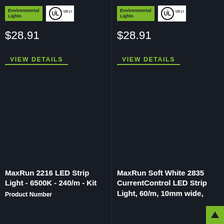[Figure (logo): Environmental Lights green badge and UL Listed certification badge - left column]
$28.91
VIEW DETAILS
[Figure (photo): Product image area - left column (dark/empty)]
MaxRun 2216 LED Strip Light - 6500K - 240/m - Kit
Product Number
[Figure (logo): Environmental Lights green badge and UL Listed certification badge - right column]
$28.91
VIEW DETAILS
[Figure (photo): Product image area - right column (dark/empty)]
MaxRun Soft White 2835 CurrentControl LED Strip Light, 60/m, 10mm wide,